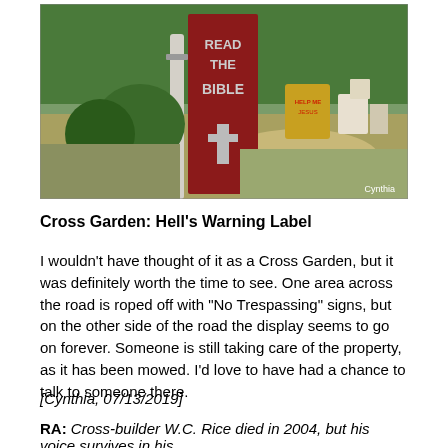[Figure (photo): Outdoor photo showing a large red wooden sign/post painted with 'READ THE BIBLE' and a cross, surrounded by greenery and yard art. Photo credit: Cynthia]
Cross Garden: Hell's Warning Label
I wouldn't have thought of it as a Cross Garden, but it was definitely worth the time to see. One area across the road is roped off with "No Trespassing" signs, but on the other side of the road the display seems to go on forever. Someone is still taking care of the property, as it has been mowed. I'd love to have had a chance to talk to someone there.
[Cynthia, 07/13/2019]
RA: Cross-builder W.C. Rice died in 2004, but his voice survives in his